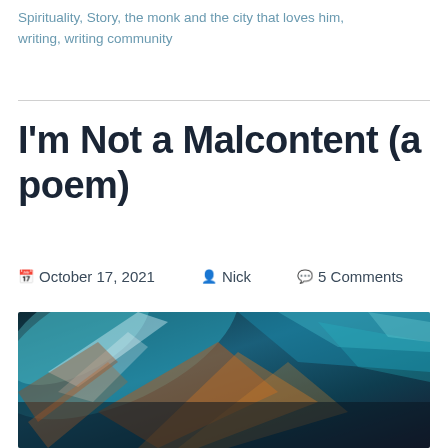Spirituality, Story, the monk and the city that loves him, writing, writing community
I'm Not a Malcontent (a poem)
📅 October 17, 2021  👤 Nick  💬 5 Comments
[Figure (photo): Abstract blurred motion photo with teal, orange, and dark color streaks suggesting a cityscape in motion]